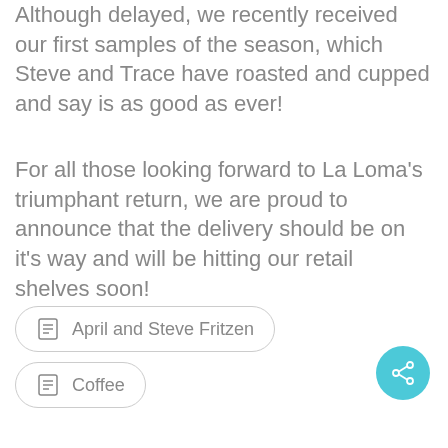Although delayed, we recently received our first samples of the season, which Steve and Trace have roasted and cupped and say is as good as ever!
For all those looking forward to La Loma's triumphant return, we are proud to announce that the delivery should be on it's way and will be hitting our retail shelves soon!
April and Steve Fritzen
Coffee